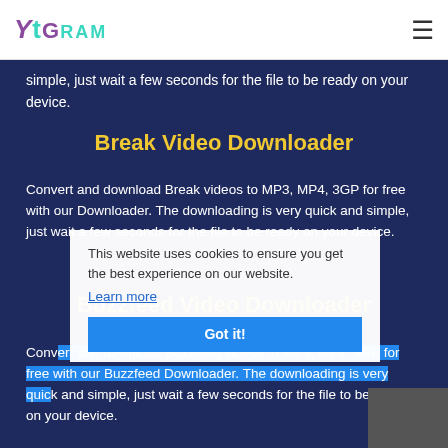YtGram
simple, just wait a few seconds for the file to be ready on your device.
Break Video Downloader
Convert and download Break videos to MP3, MP4, 3GP for free with our Downloader. The downloading is very quick and simple, just wait a few seconds for the file to be ready on your device.
This website uses cookies to ensure you get the best experience on our website. Learn more Got it!
Buzzfeed Video Downloader
Convert and download Buzzfeed videos to MP3, MP4, 3GP for free with our Buzzfeed Downloader. The downloading is very quick and simple, just wait a few seconds for the file to be ready on your device.